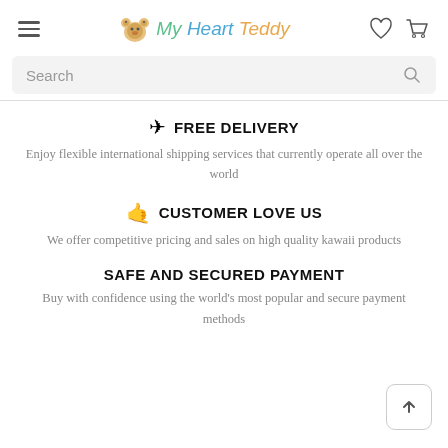My Heart Teddy – navigation header with hamburger menu, logo, heart and cart icons
Search
FREE DELIVERY
Enjoy flexible international shipping services that currently operate all over the world
CUSTOMER LOVE US
We offer competitive pricing and sales on high quality kawaii products
SAFE AND SECURED PAYMENT
Buy with confidence using the world's most popular and secure payment methods